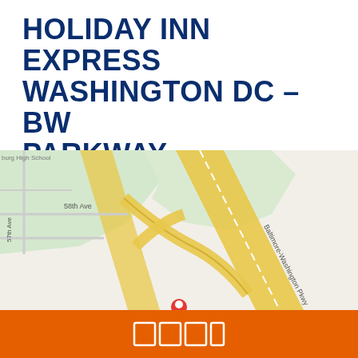HOLIDAY INN EXPRESS WASHINGTON DC – BW PARKWAY
6205 Annapolis Road, Hyattsville, MD, 20784, United States
★★★★☆ 4.2/5  684 reviews
[Figure (map): Google Maps view showing the area around 6205 Annapolis Road, Hyattsville MD, near Baltimore-Washington Parkway. Shows road network with 57th Ave, 58th Ave, and Baltimore-Washington Pkwy labeled. Yellow highway lines on beige/green map background.]
[Figure (logo): Orange footer bar with white bordered icon boxes (IHG/Holiday Inn Express logo icons)]